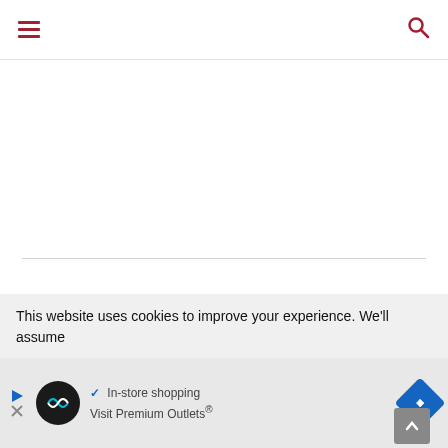Navigation header with hamburger menu and search icon
LEAVE A COMMENT
This website uses cookies to improve your experience. We'll assume
you're   ✓ In-store shopping   cept
[Figure (other): Advertisement banner with logo, navigation icon, checkmark for In-store shopping, and Visit Premium Outlets® text]
Visit Premium Outlets®